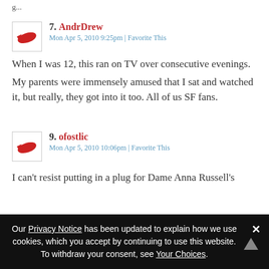g...
7. AndrDrew
Mon Apr 5, 2010 9:25pm | Favorite This
When I was 12, this ran on TV over consecutive evenings.
My parents were immensely amused that I sat and watched it, but really, they got into it too. All of us SF fans.
9. ofostlic
Mon Apr 5, 2010 10:06pm | Favorite This
I can't resist putting in a plug for Dame Anna Russell's
Our Privacy Notice has been updated to explain how we use cookies, which you accept by continuing to use this website. To withdraw your consent, see Your Choices.